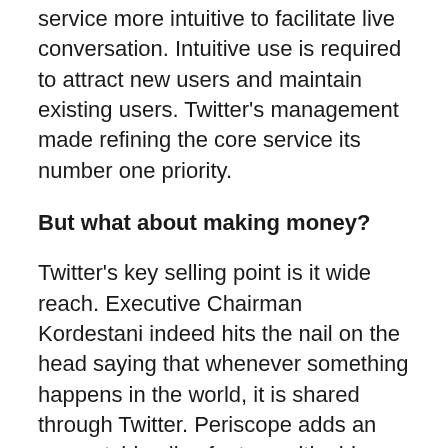service more intuitive to facilitate live conversation. Intuitive use is required to attract new users and maintain existing users. Twitter's management made refining the core service its number one priority.
But what about making money?
Twitter's key selling point is it wide reach. Executive Chairman Kordestani indeed hits the nail on the head saying that whenever something happens in the world, it is shared through Twitter. Periscope adds an eye-catching live feature with video streaming. That makes the social medium very attractive to businesses and organizations, even for non-profit institutions. There will be number of key events in 2016 underlining